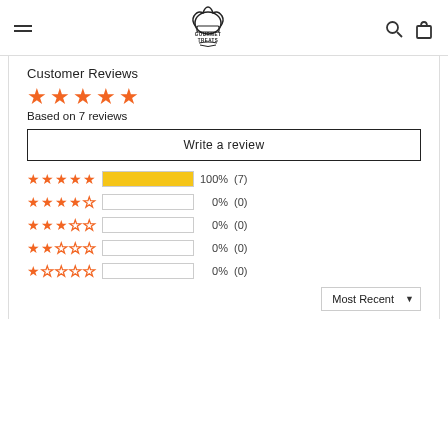[Figure (logo): Gourmet Treats chef hat logo with brand name]
Customer Reviews
Based on 7 reviews
Write a review
| Stars | Bar | Percent | Count |
| --- | --- | --- | --- |
| 5 stars | 100% | 100% | (7) |
| 4 stars | 0% | 0% | (0) |
| 3 stars | 0% | 0% | (0) |
| 2 stars | 0% | 0% | (0) |
| 1 star | 0% | 0% | (0) |
Most Recent